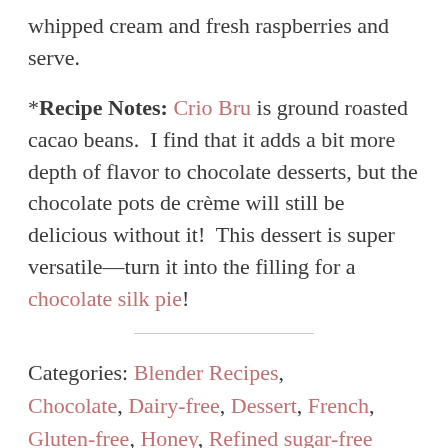whipped cream and fresh raspberries and serve.
*Recipe Notes: Crio Bru is ground roasted cacao beans.  I find that it adds a bit more depth of flavor to chocolate desserts, but the chocolate pots de crème will still be delicious without it!  This dessert is super versatile—turn it into the filling for a chocolate silk pie!
Categories: Blender Recipes, Chocolate, Dairy-free, Dessert, French, Gluten-free, Honey, Refined sugar-free
Tags: Chocolate, chocolate pots de